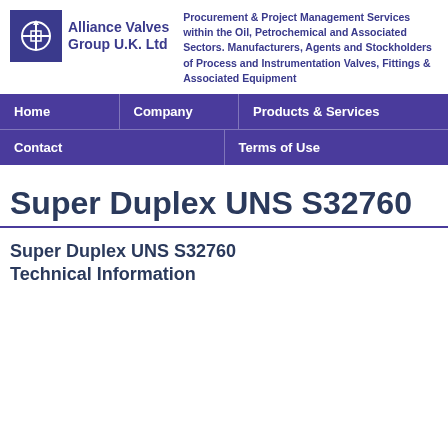[Figure (logo): Alliance Valves Group U.K. Ltd logo with blue square icon and bold blue text]
Procurement & Project Management Services within the Oil, Petrochemical and Associated Sectors. Manufacturers, Agents and Stockholders of Process and Instrumentation Valves, Fittings & Associated Equipment
Home
Company
Products & Services
Contact
Terms of Use
Super Duplex UNS S32760
Super Duplex UNS S32760 Technical Information